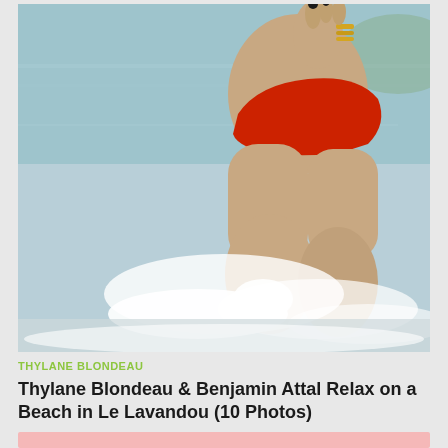[Figure (photo): A person in a red bikini bottom standing in beach waves, water splashing around their legs. Gold bracelets visible on wrist. Beach/ocean background with light blue-green water.]
THYLANE BLONDEAU
Thylane Blondeau & Benjamin Attal Relax on a Beach in Le Lavandou (10 Photos)